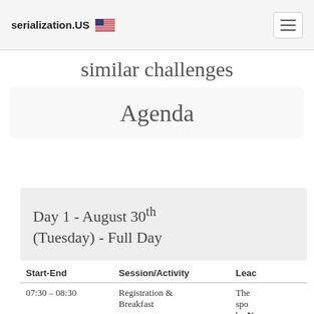serialization.US
similar challenges
Agenda
Day 1 - August 30th (Tuesday) - Full Day
| Start-End | Session/Activity | Lead |
| --- | --- | --- |
| 07:30 – 08:30 | Registration & Breakfast | The spo... by N... Pack... Ren... Ball... |